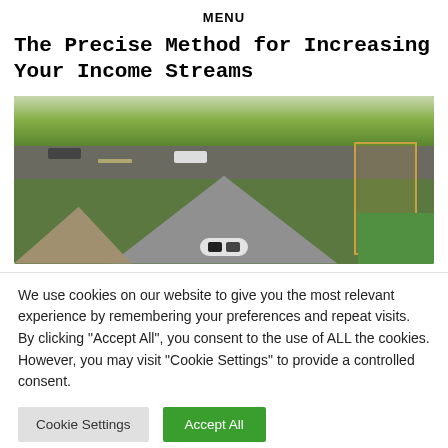MENU
The Precise Method for Increasing Your Income Streams
[Figure (photo): Aerial view of residential rooftops with scaffolding, a road with cars, green trees and lawn visible in the background]
We use cookies on our website to give you the most relevant experience by remembering your preferences and repeat visits. By clicking "Accept All", you consent to the use of ALL the cookies. However, you may visit "Cookie Settings" to provide a controlled consent.
Cookie Settings    Accept All